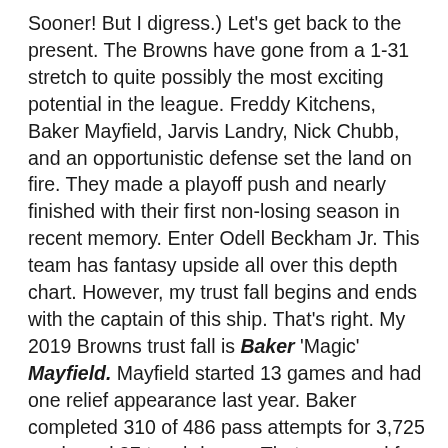Sooner! But I digress.) Let's get back to the present. The Browns have gone from a 1-31 stretch to quite possibly the most exciting potential in the league. Freddy Kitchens, Baker Mayfield, Jarvis Landry, Nick Chubb, and an opportunistic defense set the land on fire. They made a playoff push and nearly finished with their first non-losing season in recent memory. Enter Odell Beckham Jr. This team has fantasy upside all over this depth chart. However, my trust fall begins and ends with the captain of this ship. That's right. My 2019 Browns trust fall is Baker 'Magic' Mayfield. Mayfield started 13 games and had one relief appearance last year. Baker completed 310 of 486 pass attempts for 3,725 yards and 27 touchdowns. That was good for QB16 between weeks 1-16. I know. Why am I trusting last year's QB16 so much? Well, for starters, Baker only had 13 of them (get it?), twelve of which came before Week 17. Let's take those numbers instead. Baker